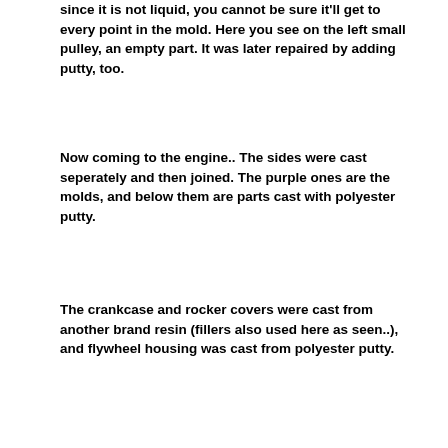since it is not liquid, you cannot be sure it'll get to every point in the mold. Here you see on the left small pulley, an empty part. It was later repaired by adding putty, too.
Now coming to the engine.. The sides were cast seperately and then joined. The purple ones are the molds, and below them are parts cast with polyester putty.
The crankcase and rocker covers were cast from another brand resin (fillers also used here as seen..), and flywheel housing was cast from polyester putty.